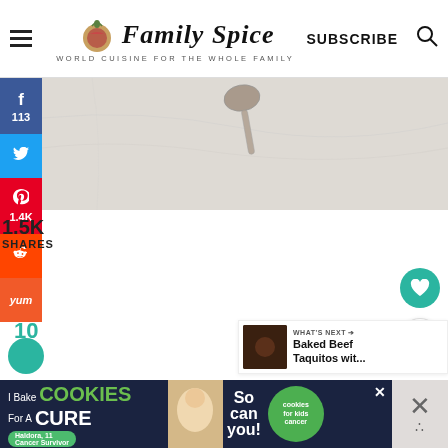Family Spice — WORLD CUISINE FOR THE WHOLE FAMILY | SUBSCRIBE
[Figure (photo): Social media share sidebar with Facebook (113), Twitter, Pinterest (1.4K), Reddit, Yummly buttons]
[Figure (photo): Top portion of food photo showing a spoon on a light marble/stone surface]
1.5K
SHARES
[Figure (infographic): WHAT'S NEXT arrow label with thumbnail and text: Baked Beef Taquitos wit...]
10
[Figure (photo): Advertisement banner: I Bake COOKIES For A CURE - Haldora, 11 Cancer Survivor - So can you! - cookies for kids cancer]
Ad banner: I Bake COOKIES For A CURE | Haldora, 11 Cancer Survivor | So can you! | cookies for kids cancer